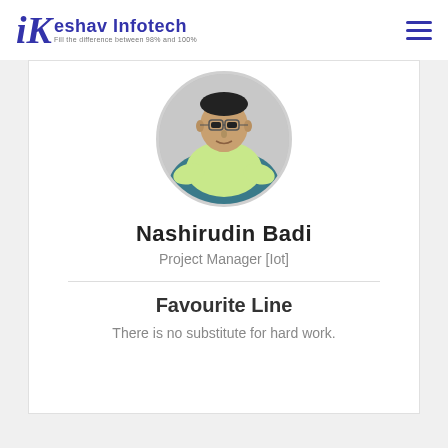Keshav Infotech - Fill the difference between 98% and 100%
[Figure (photo): Circular profile photo of Nashirudin Badi, a man wearing glasses and a light green shirt, seated in a chair]
Nashirudin Badi
Project Manager [IoT]
Favourite Line
There is no substitute for hard work.